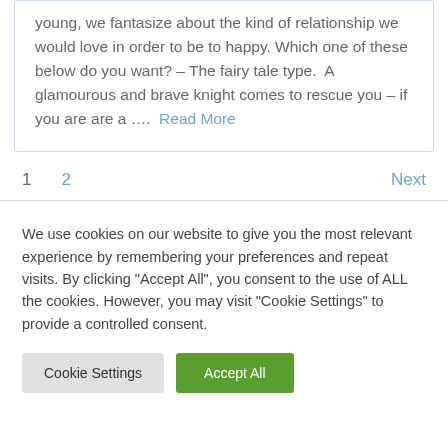young, we fantasize about the kind of relationship we would love in order to be to happy. Which one of these below do you want? – The fairy tale type. A glamourous and brave knight comes to rescue you – if you are are a ….  Read More
1   2   Next
We use cookies on our website to give you the most relevant experience by remembering your preferences and repeat visits. By clicking "Accept All", you consent to the use of ALL the cookies. However, you may visit "Cookie Settings" to provide a controlled consent.